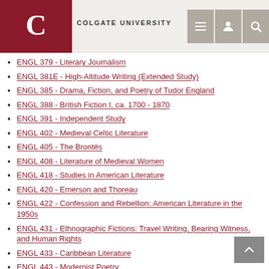Colgate University
ENGL 379 - Literary Journalism
ENGL 381E - High-Altitude Writing (Extended Study)
ENGL 385 - Drama, Fiction, and Poetry of Tudor England
ENGL 388 - British Fiction I, ca. 1700 - 1870
ENGL 391 - Independent Study
ENGL 402 - Medieval Celtic Literature
ENGL 405 - The Brontës
ENGL 408 - Literature of Medieval Women
ENGL 418 - Studies in American Literature
ENGL 420 - Emerson and Thoreau
ENGL 422 - Confession and Rebellion: American Literature in the 1950s
ENGL 431 - Ethnographic Fictions: Travel Writing, Bearing Witness, and Human Rights
ENGL 433 - Caribbean Literature
ENGL 443 - Modernist Poetry
ENGL 444 - Modern Wisdom Literature
ENGL 445 - Life-Writing: The Renaissance
ENGL 460 - Studies in the Middle Ages
ENGL 461 - Studies in the Renaissance
ENGL 471 - Major American Novelists